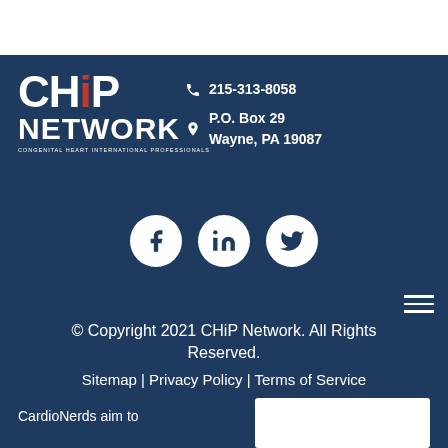[Figure (logo): CHiP Network logo with red dot on i, white text on dark blue background]
215-313-8058
P.O. Box 29
Wayne, PA 19087
[Figure (other): Social media icons: Facebook, LinkedIn, Twitter in white circles on dark blue background]
© Copyright 2021 CHiP Network. All Rights Reserved.
Sitemap | Privacy Policy | Terms of Service
CardioNerds aim to